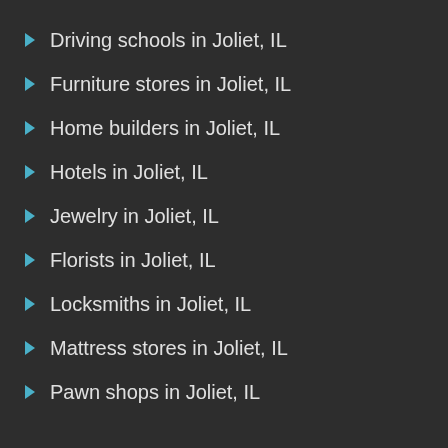Driving schools in Joliet, IL
Furniture stores in Joliet, IL
Home builders in Joliet, IL
Hotels in Joliet, IL
Jewelry in Joliet, IL
Florists in Joliet, IL
Locksmiths in Joliet, IL
Mattress stores in Joliet, IL
Pawn shops in Joliet, IL